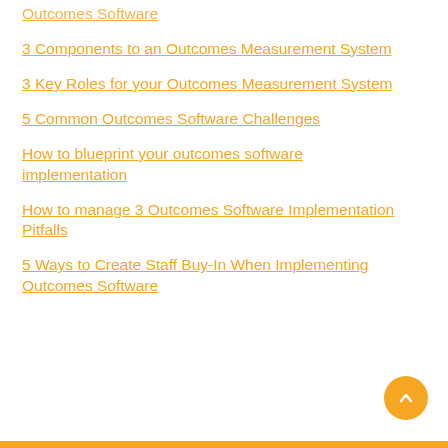Outcomes Software
3 Components to an Outcomes Measurement System
3 Key Roles for your Outcomes Measurement System
5 Common Outcomes Software Challenges
How to blueprint your outcomes software implementation
How to manage 3 Outcomes Software Implementation Pitfalls
5 Ways to Create Staff Buy-In When Implementing Outcomes Software